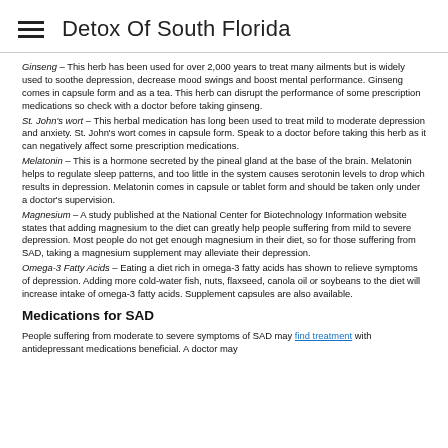Detox Of South Florida
Ginseng – This herb has been used for over 2,000 years to treat many ailments but is widely used to soothe depression, decrease mood swings and boost mental performance. Ginseng comes in capsule form and as a tea. This herb can disrupt the performance of some prescription medications so check with a doctor before taking ginseng.
St. John's wort – This herbal medication has long been used to treat mild to moderate depression and anxiety. St. John's wort comes in capsule form. Speak to a doctor before taking this herb as it can negatively affect some prescription medications.
Melatonin – This is a hormone secreted by the pineal gland at the base of the brain. Melatonin helps to regulate sleep patterns, and too little in the system causes serotonin levels to drop which results in depression. Melatonin comes in capsule or tablet form and should be taken only under a doctor's supervision.
Magnesium – A study published at the National Center for Biotechnology Information website states that adding magnesium to the diet can greatly help people suffering from mild to severe depression. Most people do not get enough magnesium in their diet, so for those suffering from SAD, taking a magnesium supplement may alleviate their depression.
Omega-3 Fatty Acids – Eating a diet rich in omega-3 fatty acids has shown to relieve symptoms of depression. Adding more cold-water fish, nuts, flaxseed, canola oil or soybeans to the diet will increase intake of omega-3 fatty acids. Supplement capsules are also available.
Medications for SAD
People suffering from moderate to severe symptoms of SAD may find treatment with antidepressant medications beneficial. A doctor may